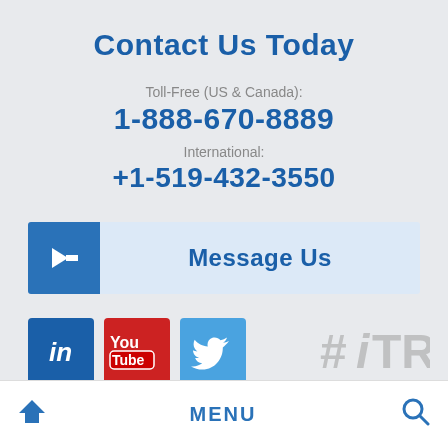Contact Us Today
Toll-Free (US & Canada):
1-888-670-8889
International:
+1-519-432-3550
Message Us
[Figure (logo): LinkedIn icon]
[Figure (logo): YouTube icon]
[Figure (logo): Twitter icon]
[Figure (logo): #iTRG logo watermark]
Home  MENU  Search